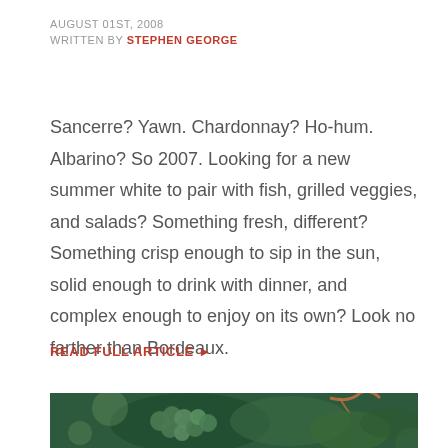AUGUST 01ST, 2008
WRITTEN BY STEPHEN GEORGE
Sancerre? Yawn. Chardonnay? Ho-hum. Albarino? So 2007. Looking for a new summer white to pair with fish, grilled veggies, and salads? Something fresh, different? Something crisp enough to sip in the sun, solid enough to drink with dinner, and complex enough to enjoy on its own? Look no farther than Bordeaux.
READ FULL ARTICLE ❯
[Figure (photo): Close-up photo of green grapes on a vine with leaves, dark green background]